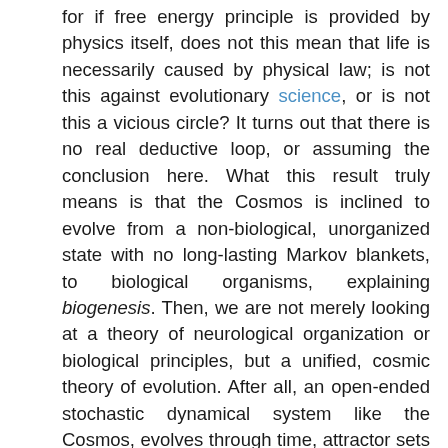for if free energy principle is provided by physics itself, does not this mean that life is necessarily caused by physical law; is not this against evolutionary science, or is not this a vicious circle? It turns out that there is no real deductive loop, or assuming the conclusion here. What this result truly means is that the Cosmos is inclined to evolve from a non-biological, unorganized state with no long-lasting Markov blankets, to biological organisms, explaining biogenesis. Then, we are not merely looking at a theory of neurological organization or biological principles, but a unified, cosmic theory of evolution. After all, an open-ended stochastic dynamical system like the Cosmos, evolves through time, attractor sets form, and the system continually explores new behaviors. Indeed, there is no unwarranted assumption, or circularity in this manner of theorizing. What perplexes the common reader is the